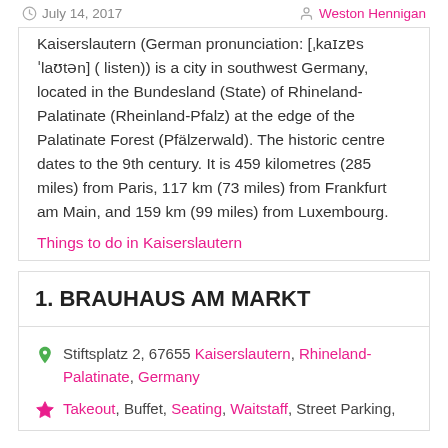July 14, 2017 | Weston Hennigan
Kaiserslautern (German pronunciation: [ˌkaɪzɐs ˈlaʊtən] ( listen)) is a city in southwest Germany, located in the Bundesland (State) of Rhineland-Palatinate (Rheinland-Pfalz) at the edge of the Palatinate Forest (Pfälzerwald). The historic centre dates to the 9th century. It is 459 kilometres (285 miles) from Paris, 117 km (73 miles) from Frankfurt am Main, and 159 km (99 miles) from Luxembourg.
Things to do in Kaiserslautern
1. BRAUHAUS AM MARKT
Stiftsplatz 2, 67655 Kaiserslautern, Rhineland-Palatinate, Germany
Takeout, Buffet, Seating, Waitstaff, Street Parking,